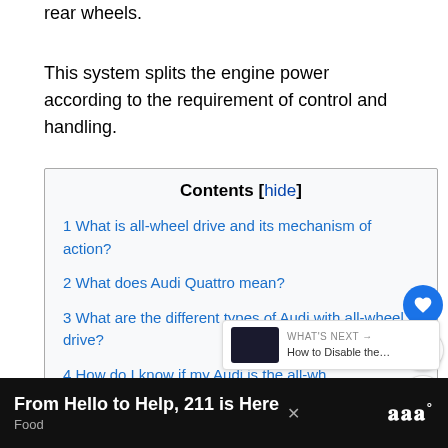rear wheels.
This system splits the engine power according to the requirement of control and handling.
Contents [hide]
1 What is all-wheel drive and its mechanism of action?
2 What does Audi Quattro mean?
3 What are the different types of Audi with all-wheel drive?
4 How do I know if my Audi is the all-wh...
4.1 Check the engine direction
From Hello to Help, 211 is Here
Food